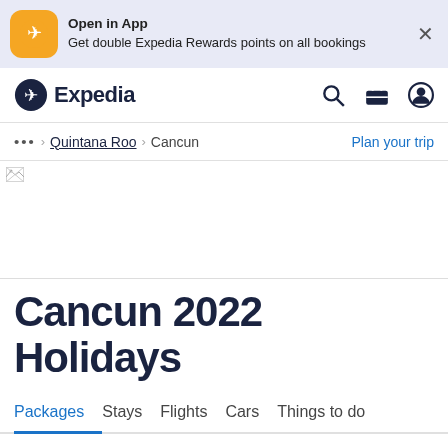[Figure (screenshot): Expedia app banner with yellow app icon, text 'Open in App / Get double Expedia Rewards points on all bookings', and an X close button on a light blue-grey background]
[Figure (logo): Expedia logo with dark navy globe/plane icon and 'Expedia' text, plus search, briefcase, and user icons on the right]
… > Quintana Roo > Cancun    Plan your trip
[Figure (photo): Hero image placeholder (broken image icon shown) for Cancun 2022 Holidays page]
Cancun 2022 Holidays
Packages  Stays  Flights  Cars  Things to do